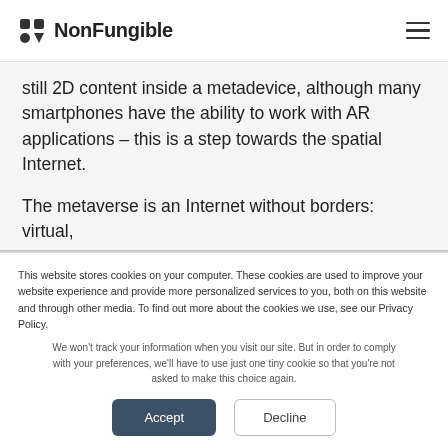NonFungible
still 2D content inside a metadevice, although many smartphones have the ability to work with AR applications – this is a step towards the spatial Internet.
The metaverse is an Internet without borders: virtual,
This website stores cookies on your computer. These cookies are used to improve your website experience and provide more personalized services to you, both on this website and through other media. To find out more about the cookies we use, see our Privacy Policy.
We won't track your information when you visit our site. But in order to comply with your preferences, we'll have to use just one tiny cookie so that you're not asked to make this choice again.